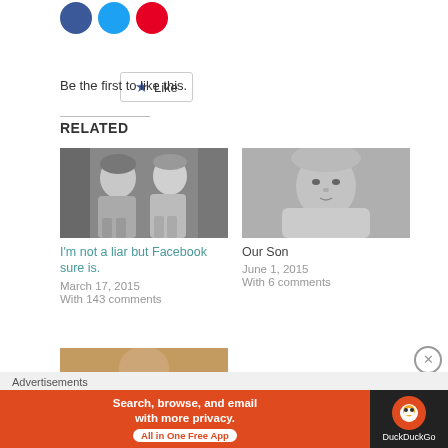[Figure (other): Social share buttons: Facebook (blue circle), Twitter (light blue circle), Pinterest (red circle)]
[Figure (other): Like button widget with star icon and text 'Like']
Be the first to like this.
RELATED
[Figure (photo): Black and white photo of two young girls sitting together]
I'm not a liar but Facebook sure is.
March 17, 2015
With 143 comments
[Figure (photo): Black and white photo of a baby]
Our Son
June 1, 2015
With 6 comments
[Figure (photo): Partial color photo of a woman, cropped]
Advertisements
[Figure (other): DuckDuckGo advertisement banner: 'Search, browse, and email with more privacy. All in One Free App' on orange background with DuckDuckGo logo on dark background]